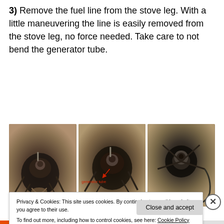3) Remove the fuel line from the stove leg. With a little maneuvering the line is easily removed from the stove leg, no force needed. Take care to not bend the generator tube.
[Figure (photo): Three side-by-side photos of a camping stove showing the fuel line removal process. Left photo shows stove with fuel line attached close-up. Middle photo shows stove with a red arrow pointing to the generator tube labeled 'generator tube'. Right photo shows the stove from above with the fuel line removed.]
4) Unscrew the jet using the jet & cable tool, and remove
Privacy & Cookies: This site uses cookies. By continuing to use this website, you agree to their use.
To find out more, including how to control cookies, see here: Cookie Policy
Close and accept